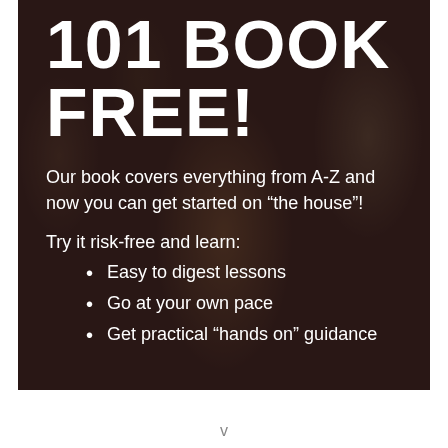[Figure (photo): Dark overlay photo of people working on construction or manual labor against a brick wall background]
101 BOOK FREE!
Our book covers everything from A-Z and now you can get started on “the house”!
Try it risk-free and learn:
Easy to digest lessons
Go at your own pace
Get practical “hands on” guidance
v